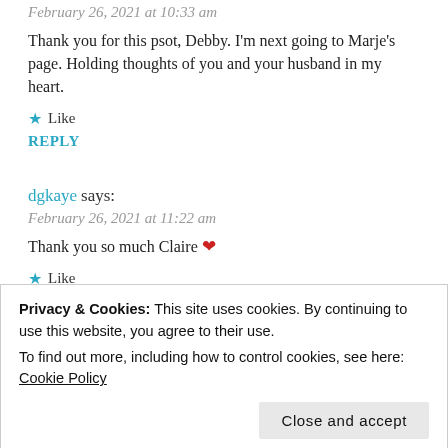February 26, 2021 at 10:33 am
Thank you for this psot, Debby. I'm next going to Marje's page. Holding thoughts of you and your husband in my heart.
★ Like
REPLY
dgkaye says:
February 26, 2021 at 11:22 am
Thank you so much Claire ❤
★ Like
REPLY
Privacy & Cookies: This site uses cookies. By continuing to use this website, you agree to their use.
To find out more, including how to control cookies, see here: Cookie Policy
Close and accept